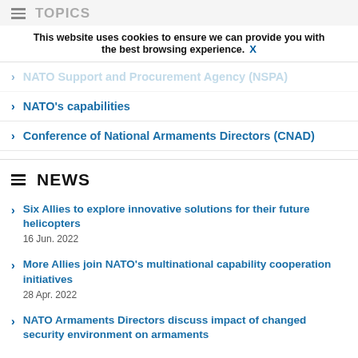TOPICS
This website uses cookies to ensure we can provide you with the best browsing experience. X
NATO Support and Procurement Agency (NSPA)
NATO's capabilities
Conference of National Armaments Directors (CNAD)
NEWS
Six Allies to explore innovative solutions for their future helicopters
16 Jun. 2022
More Allies join NATO's multinational capability cooperation initiatives
28 Apr. 2022
NATO Armaments Directors discuss impact of changed security environment on armaments